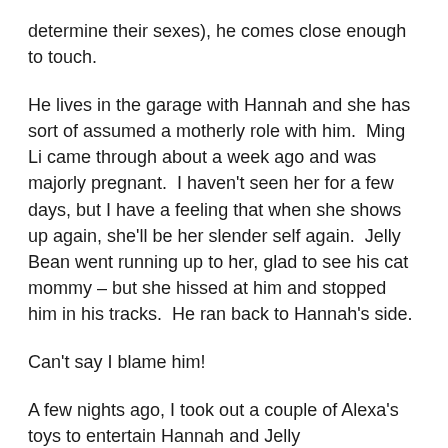determine their sexes), he comes close enough to touch.
He lives in the garage with Hannah and she has sort of assumed a motherly role with him.  Ming Li came through about a week ago and was majorly pregnant.  I haven't seen her for a few days, but I have a feeling that when she shows up again, she'll be her slender self again.  Jelly Bean went running up to her, glad to see his cat mommy – but she hissed at him and stopped him in his tracks.  He ran back to Hannah's side.
Can't say I blame him!
A few nights ago, I took out a couple of Alexa's toys to entertain Hannah and Jelly Bean.   Hannah is